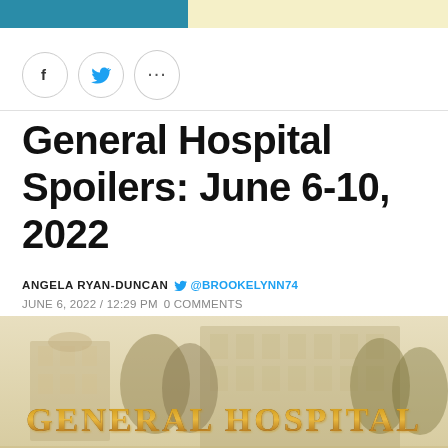[Figure (other): Social sharing buttons: Facebook (f), Twitter bird icon, and ellipsis (...)]
General Hospital Spoilers: June 6-10, 2022
ANGELA RYAN-DUNCAN  @BROOKELYNN74  JUNE 6, 2022 / 12:29 PM  0 COMMENTS
[Figure (photo): General Hospital TV show logo against a sepia-toned background of a hospital building and trees. The text 'GENERAL HOSPITAL' is displayed in large ornate gold/brown lettering.]